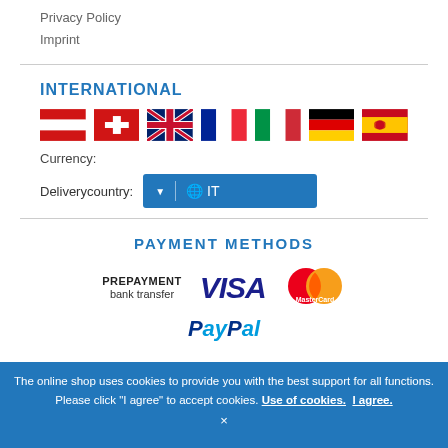Privacy Policy
Imprint
INTERNATIONAL
[Figure (illustration): Row of country flags: Austria, Switzerland, United Kingdom, France, Italy, Germany, Spain]
Currency:
Deliverycountry:  IT
PAYMENT METHODS
[Figure (illustration): Payment method logos: PREPAYMENT bank transfer, VISA, MasterCard, PayPal (partially visible)]
The online shop uses cookies to provide you with the best support for all functions. Please click "I agree" to accept cookies. Use of cookies. I agree.